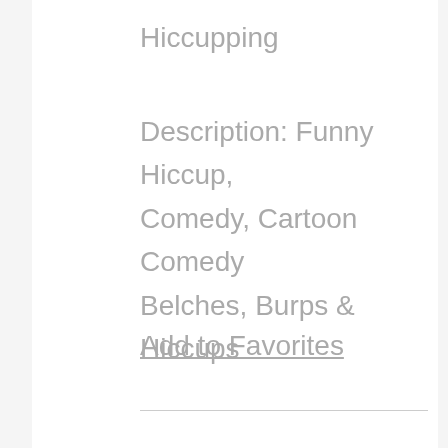Hiccupping
Description: Funny Hiccup, Comedy, Cartoon Comedy Belches, Burps & Hiccups
Add to Favorites
▶ HUMAN, HICCUP 15